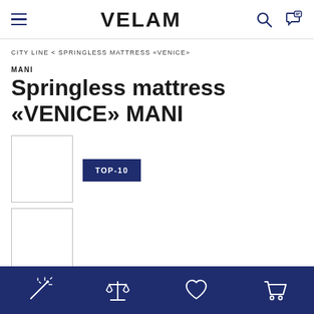VELAM
CITY LINE < SPRINGLESS MATTRESS «VENICE»
MANI
Springless mattress «VENICE» MANI
[Figure (other): Two product thumbnail image boxes (empty white with border) stacked vertically on the left side, with a TOP-10 badge in dark blue on the right]
Bottom navigation bar with icons: magic wand, scales/compare, heart/wishlist, shopping cart